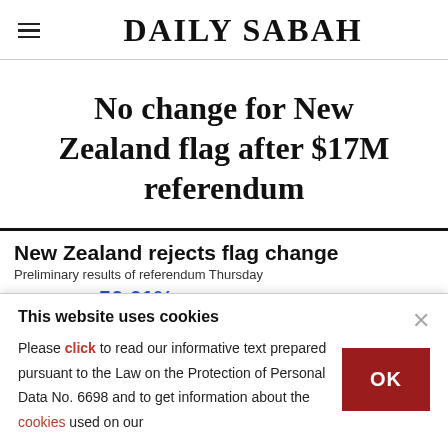DAILY SABAH
No change for New Zealand flag after $17M referendum
New Zealand rejects flag change
Preliminary results of referendum Thursday
Retained flag  56.61% of votes
This website uses cookies
Please click to read our informative text prepared pursuant to the Law on the Protection of Personal Data No. 6698 and to get information about the cookies used on our